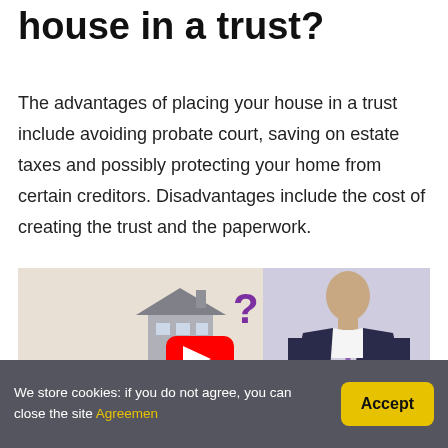house in a trust?
The advantages of placing your house in a trust include avoiding probate court, saving on estate taxes and possibly protecting your home from certain creditors. Disadvantages include the cost of creating the trust and the paperwork.
[Figure (photo): Video thumbnail showing a person holding a miniature house model with a purple question mark, a man in a suit on the right side, a YouTube play button overlay in the center, and a purple banner at the bottom with italic white text. Cookie consent bar overlays the bottom.]
We store cookies: if you do not agree, you can close the site Agreemen